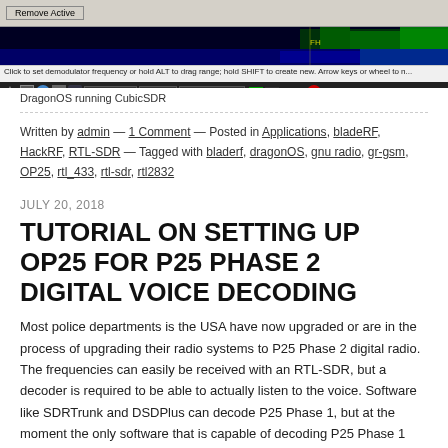[Figure (screenshot): Screenshot of DragonOS running CubicSDR software with spectrum analyzer display and taskbar showing uxterm and CubicSDR windows at 13:41]
DragonOS running CubicSDR
Written by admin — 1 Comment — Posted in Applications, bladeRF, HackRF, RTL-SDR — Tagged with bladerf, dragonOS, gnu radio, gr-gsm, OP25, rtl_433, rtl-sdr, rtl2832
JULY 20, 2018
TUTORIAL ON SETTING UP OP25 FOR P25 PHASE 2 DIGITAL VOICE DECODING
Most police departments is the USA have now upgraded or are in the process of upgrading their radio systems to P25 Phase 2 digital radio. The frequencies can easily be received with an RTL-SDR, but a decoder is required to be able to actually listen to the voice. Software like SDRTrunk and DSDPlus can decode P25 Phase 1, but at the moment the only software that is capable of decoding P25 Phase 1 AND 2 is a program called OP25. However, OP25 has a reputation of being fairly difficult to set